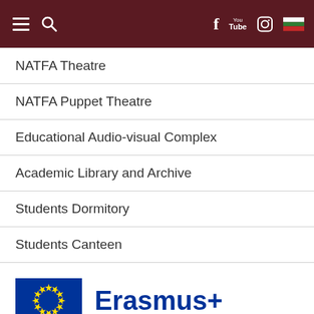NATFA Theatre | NATFA Puppet Theatre | Educational Audio-visual Complex | Academic Library and Archive | Students Dormitory | Students Canteen
NATFA Theatre
NATFA Puppet Theatre
Educational Audio-visual Complex
Academic Library and Archive
Students Dormitory
Students Canteen
[Figure (logo): Erasmus+ logo with EU flag (blue rectangle with yellow stars circle) and 'Erasmus+' text in dark blue]